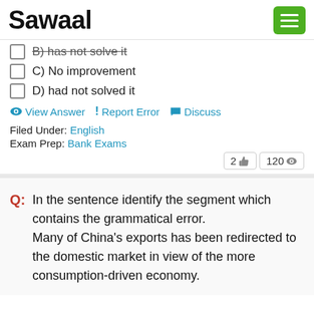Sawaal
B) has not solve it
C) No improvement
D) had not solved it
View Answer | Report Error | Discuss
Filed Under: English
Exam Prep: Bank Exams
2 👍  120 👁
Q: In the sentence identify the segment which contains the grammatical error. Many of China's exports has been redirected to the domestic market in view of the more consumption-driven economy.